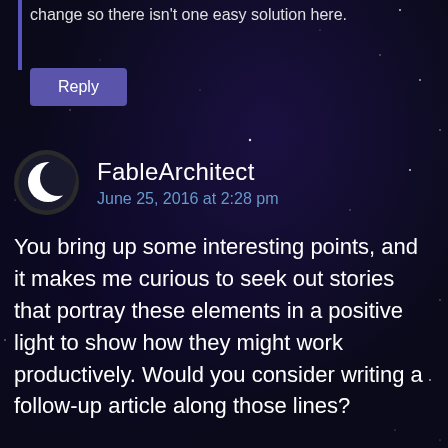change so there isn't one easy solution here.
Reply
FableArchitect
June 25, 2016 at 2:28 pm
You bring up some interesting points, and it makes me curious to seek out stories that portray these elements in a positive light to show how they might work productively. Would you consider writing a follow-up article along those lines?
Also, I'm not sure I agree with your statement that Star Wars paints cybernetics (is that the right term